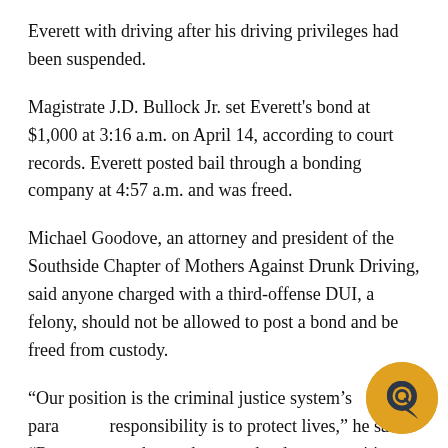Everett with driving after his driving privileges had been suspended.
Magistrate J.D. Bullock Jr. set Everett's bond at $1,000 at 3:16 a.m. on April 14, according to court records. Everett posted bail through a bonding company at 4:57 a.m. and was freed.
Michael Goodove, an attorney and president of the Southside Chapter of Mothers Against Drunk Driving, said anyone charged with a third-offense DUI, a felony, should not be allowed to post a bond and be freed from custody.
“Our position is the criminal justice system’s paramount responsibility is to protect lives,” he said. “Research has shown that your hardcore, repetitive drunk-driving
[Figure (logo): Circular golden/amber badge with a dark Q speech bubble icon, representing a media or news organization logo]